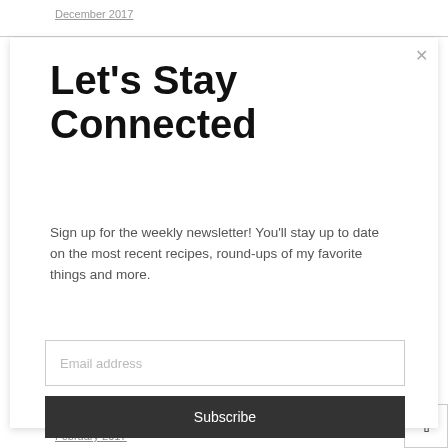December 2017
Let's Stay Connected
Sign up for the weekly newsletter! You'll stay up to date on the most recent recipes, round-ups of my favorite things and more.
Email address
Subscribe
February 2017